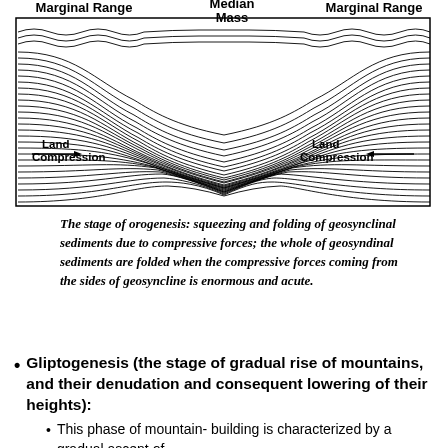[Figure (schematic): Geological diagram showing orogenesis: two land masses with arrows labeled 'Land Compression' point inward from both sides. The center shows folded geosynclinal sediments compressed into wave-like folds. Labels at top: 'Marginal Range' (left), 'Median Mass' (center), 'Marginal Range' (right, partial).]
The stage of orogenesis: squeezing and folding of geosynclinal sediments due to compressive forces; the whole of geosyndinal sediments are folded when the compressive forces coming from the sides of geosyncline is enormous and acute.
Gliptogenesis (the stage of gradual rise of mountains, and their denudation and consequent lowering of their heights):
This phase of mountain- building is characterized by a gradual ascent of